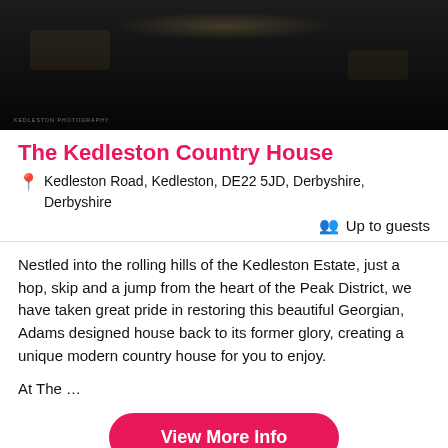[Figure (photo): Dark nighttime exterior photo of The Kedleston Country House with small watermark text at bottom left]
The Kedleston Country House
📍 Kedleston Road, Kedleston, DE22 5JD, Derbyshire, Derbyshire
👥 Up to guests
Nestled into the rolling hills of the Kedleston Estate, just a hop, skip and a jump from the heart of the Peak District, we have taken great pride in restoring this beautiful Georgian, Adams designed house back to its former glory, creating a unique modern country house for you to enjoy.

At The …
View More Info